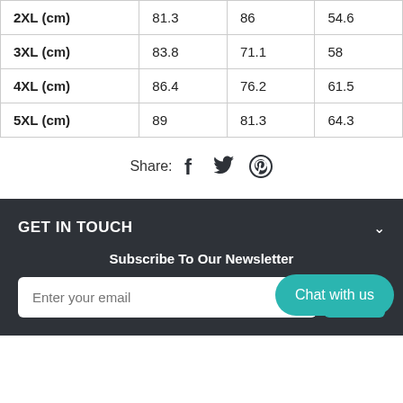| 2XL (cm) | 81.3 | 86 | 54.6 |
| 3XL (cm) | 83.8 | 71.1 | 58 |
| 4XL (cm) | 86.4 | 76.2 | 61.5 |
| 5XL (cm) | 89 | 81.3 | 64.3 |
Share:
[Figure (other): Social share icons: Facebook, Twitter, Pinterest]
GET IN TOUCH
Subscribe To Our Newsletter
Enter your email
GET
Chat with us